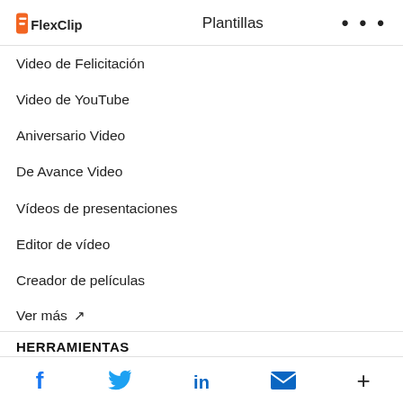FlexClip  Plantillas  •••
Video de Felicitación
Video de YouTube
Aniversario Video
De Avance Video
Vídeos de presentaciones
Editor de vídeo
Creador de películas
Ver más ↗
HERRAMIENTAS
Facebook Twitter LinkedIn Email +